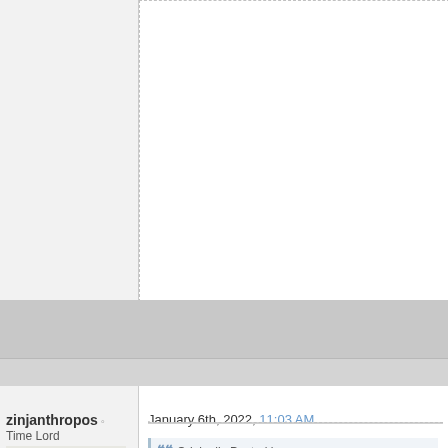[Figure (screenshot): Top forum post area showing user panel and content area, both partially visible and clipped. Grey background with white content panel.]
[Figure (screenshot): Forum post separator bar, gray background.]
zinjanthropos
Time Lord
[Figure (photo): Avatar photo of an older man with a large mustache wearing suspenders and a yellow tie.]
Join Date: Dec 2005
Location: Driving in my car
Posts: 5,950
January 6th, 2022, 11:03 AM
Originally Posted by o
Meerkats are used to se
I wonder how many peo
That's funny.
If word of meerkat reputation gets
Apparently the Dama Gazelle of th and murdering one another doesn killing their own kind for whatever